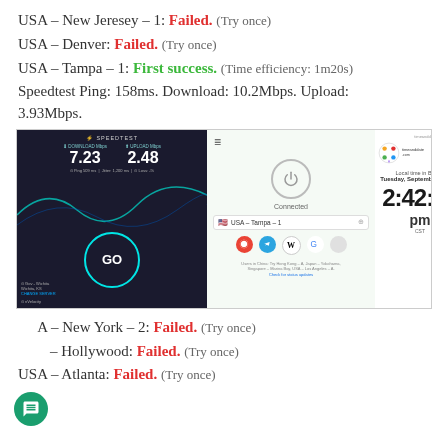USA – New Jeresey – 1: Failed. (Try once)
USA – Denver: Failed. (Try once)
USA – Tampa – 1: First success. (Time efficiency: 1m20s)
Speedtest Ping: 158ms. Download: 10.2Mbps. Upload: 3.93Mbps.
[Figure (screenshot): Screenshot showing three panels: a Speedtest result with 7.23 Mbps download and 2.48 Mbps upload, a NordVPN app showing Connected to USA - Tampa - 1, and timeanddate.com showing Local time in Beijing: Tuesday, September 1, 2020, 2:42:58 pm CST.]
USA – New York – 2: Failed. (Try once)
USA – Hollywood: Failed. (Try once)
USA – Atlanta: Failed. (Try once)